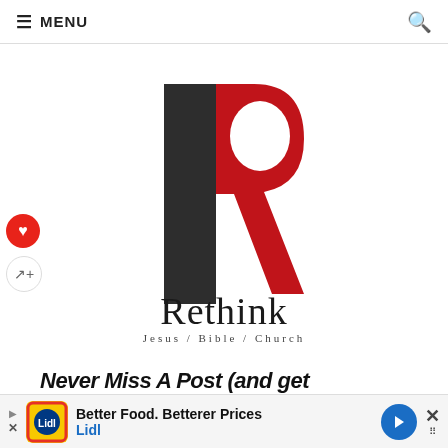≡ MENU
[Figure (logo): Rethink logo: stylized letter R with dark charcoal left half and red right half, with text 'Rethink' and subtitle 'Jesus / Bible / Church']
Never Miss A Post (and get...
[Figure (infographic): Advertisement banner: Lidl ad - 'Better Food. Betterer Prices / Lidl' with yellow/green Lidl logo icon and blue navigation arrow button]